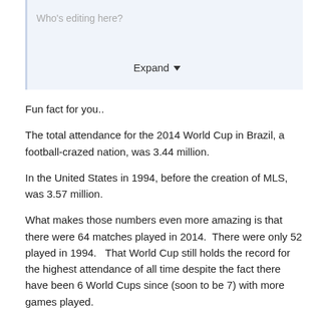Who's editing here?
Expand
Fun fact for you..
The total attendance for the 2014 World Cup in Brazil, a football-crazed nation, was 3.44 million.
In the United States in 1994, before the creation of MLS, was 3.57 million.
What makes those numbers even more amazing is that there were 64 matches played in 2014.  There were only 52 played in 1994.   That World Cup still holds the record for the highest attendance of all time despite the fact there have been 6 World Cups since (soon to be 7) with more games played.
Attendance is not going to be a concern for the 2028 Olympics.  Bringing up 2016 is extremely pointless.  What does that have to do with the potential attendance in LA 2028?  You didn't illustrate anything.  You cherry picked something random and tried to pretend it's connected to this thread.